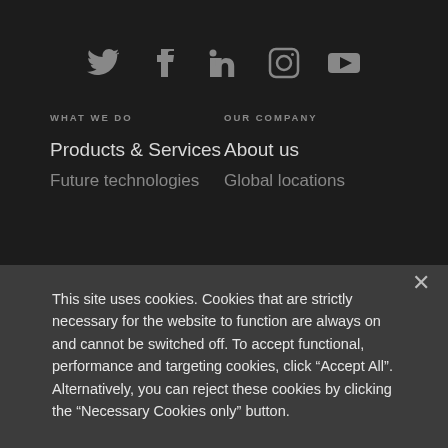[Figure (illustration): Social media icons row: Twitter, Facebook, LinkedIn, Instagram, YouTube]
WHAT WE DO
OUR COMPANY
Products & Services
About us
Future technologies
Global locations
This site uses cookies. Cookies that are strictly necessary for the website to function are always on and cannot be switched off. To accept functional, performance and targeting cookies, click “Accept All”. Alternatively, you can reject these cookies by clicking the “Necessary Cookies only” button.
Manage My Choices
Necessary Cookies only
Accept All